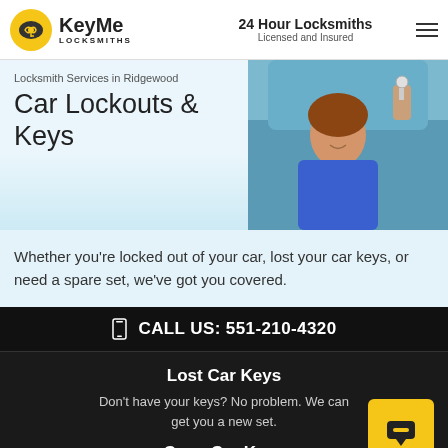KeyMe LOCKSMITHS | 24 Hour Locksmiths Licensed and Insured
Locksmith Services in Ridgewood
Car Lockouts & Keys
[Figure (photo): Woman in car smiling and receiving car keys from someone outside the car window]
Whether you're locked out of your car, lost your car keys, or need a spare set, we've got you covered.
CALL US: 551-210-4320
Lost Car Keys
Don't have your keys? No problem. We can get you a new set.
Copy Car Keys